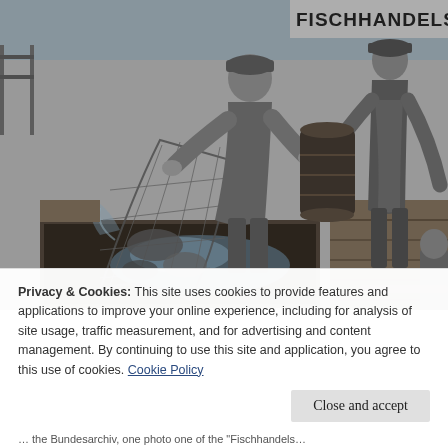[Figure (photo): Black and white historical photograph of workers at a fish market dock. Two men in work clothes and caps are handling a net full of fish over a large crate, with water splashing. A barrel is visible, and a sign reading 'FISCHHANDELS' is in the background near water.]
Privacy & Cookies: This site uses cookies to provide features and applications to improve your online experience, including for analysis of site usage, traffic measurement, and for advertising and content management. By continuing to use this site and application, you agree to this use of cookies. Cookie Policy
Close and accept
... the Bundesarchive, one photo one of the "Fischhandels...